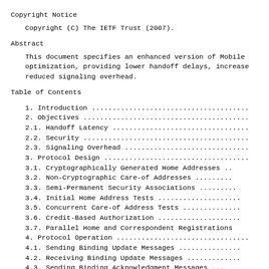Copyright Notice
Copyright (C) The IETF Trust (2007).
Abstract
This document specifies an enhanced version of Mobile optimization, providing lower handoff delays, increase reduced signaling overhead.
Table of Contents
1. Introduction ...............................
2. Objectives .................................
2.1. Handoff Latency ..........................
2.2. Security .................................
2.3. Signaling Overhead .......................
3. Protocol Design ............................
3.1. Cryptographically Generated Home Addresses ..
3.2. Non-Cryptographic Care-of Addresses .........
3.3. Semi-Permanent Security Associations ........
3.4. Initial Home Address Tests ..................
3.5. Concurrent Care-of Address Tests ............
3.6. Credit-Based Authorization ..................
3.7. Parallel Home and Correspondent Registrations
4. Protocol Operation .........................
4.1. Sending Binding Update Messages .............
4.2. Receiving Binding Update Messages ...........
4.3. Sending Binding Acknowledgment Messages ...